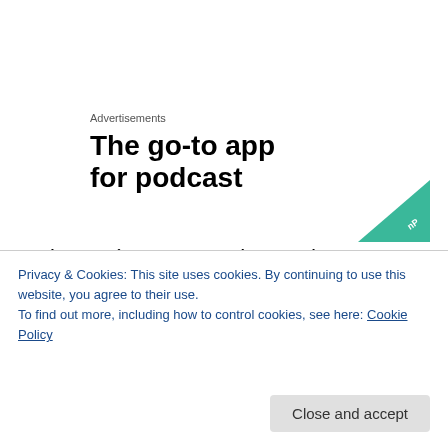Advertisements
The go-to app for podcast
[Figure (logo): Green triangular Pocket Casts app logo]
Rob Lee (Syncros Endurance)
Greame Raeburn (Rapha)
James Bawthorne (Globecycle... round the world record
Privacy & Cookies: This site uses cookies. By continuing to use this website, you agree to their use.
To find out more, including how to control cookies, see here: Cookie Policy
Close and accept